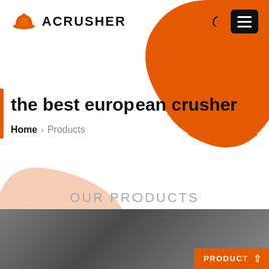[Figure (logo): Acrusher logo with orange hard-hat icon and bold text ACRUSHER]
the best european crusher — Home > Products
the best european crusher
Home > Products
OUR PRODUCTS
[Figure (photo): Industrial factory interior showing overhead crane and machinery, with orange PRODUC(T) badge and up-arrow in the lower right corner]